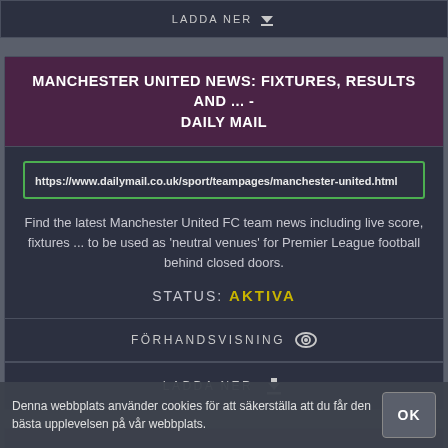LADDA NER
MANCHESTER UNITED NEWS: FIXTURES, RESULTS AND ... - DAILY MAIL
https://www.dailymail.co.uk/sport/teampages/manchester-united.html
Find the latest Manchester United FC team news including live score, fixtures ... to be used as 'neutral venues' for Premier League football behind closed doors.
STATUS: AKTIVA
FÖRHANDSVISNING
LADDA NER
Denna webbplats använder cookies för att säkerställa att du får den bästa upplevelsen på vår webbplats.
OK